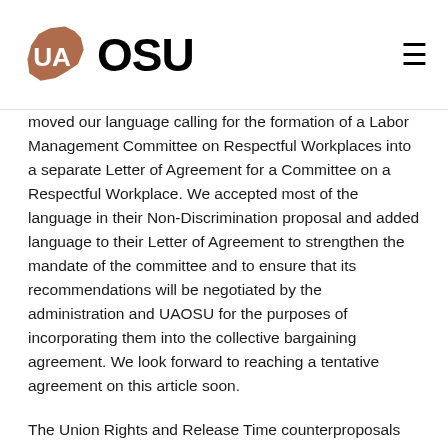UAOSU
moved our language calling for the formation of a Labor Management Committee on Respectful Workplaces into a separate Letter of Agreement for a Committee on a Respectful Workplace. We accepted most of the language in their Non-Discrimination proposal and added language to their Letter of Agreement to strengthen the mandate of the committee and to ensure that its recommendations will be negotiated by the administration and UAOSU for the purposes of incorporating them into the collective bargaining agreement. We look forward to reaching a tentative agreement on this article soon.
The Union Rights and Release Time counterproposals were submitted to the administration as a package. These are brief articles consisting of standard contract language designed to define some of the interactions between the